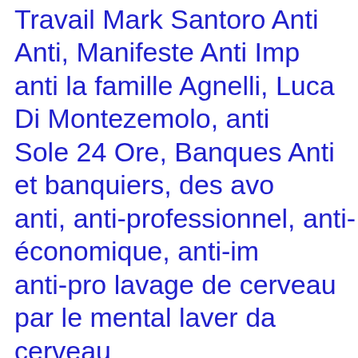Travail Mark Santoro Anti Anti, Manifeste Anti Imp anti la famille Agnelli, Luca Di Montezemolo, anti Sole 24 Ore, Banques Anti et banquiers, des avo anti, anti-professionnel, anti-économique, anti-im anti-pro lavage de cerveau par le mental laver da cerveau
La propagation d'aujourd'hui est un mot ou un AV anti
et brillance Pro
14:46
[Figure (illustration): User avatar placeholder icon — grey square with a silhouette person icon with a diagonal line through it]
Meryluise Astrologa  -  Moodys hat ausdrücklich d dass sie das Manöver gegen Krise und ihre anti